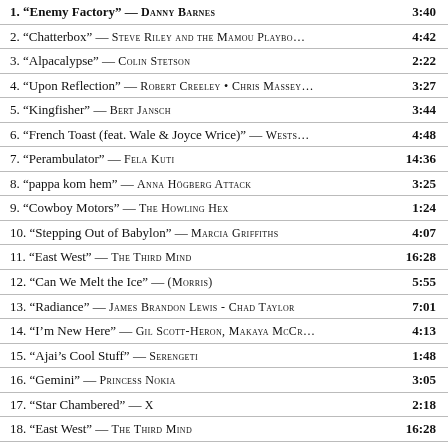| Track | Duration |
| --- | --- |
| 1. “Enemy Factory” — DANNY BARNES | 3:40 |
| 2. “Chatterbox” — STEVE RILEY AND THE MAMOU PLAYBO… | 4:42 |
| 3. “Alpacalypse” — COLIN STETSON | 2:22 |
| 4. “Upon Reflection” — ROBERT CREELEY • CHRIS MASSEY… | 3:27 |
| 5. “Kingfisher” — BERT JANSCH | 3:44 |
| 6. “French Toast (feat. Wale & Joyce Wrice)” — WESTS… | 4:48 |
| 7. “Perambulator” — FELA KUTI | 14:36 |
| 8. “pappa kom hem” — ANNA HÖGBERG ATTACK | 3:25 |
| 9. “Cowboy Motors” — THE HOWLING HEX | 1:24 |
| 10. “Stepping Out of Babylon” — MARCIA GRIFFITHS | 4:07 |
| 11. “East West” — THE THIRD MIND | 16:28 |
| 12. “Can We Melt the Ice” — (MORRIS) | 5:55 |
| 13. “Radiance” — JAMES BRANDON LEWIS - CHAD TAYLOR | 7:01 |
| 14. “I’m New Here” — GIL SCOTT-HERON, MAKAYA MCCR… | 4:13 |
| 15. “Ajai’s Cool Stuff” — SERENGETI | 1:48 |
| 16. “Gemini” — PRINCESS NOKIA | 3:05 |
| 17. “Star Chambered” — X | 2:18 |
| 18. “East West” — THE THIRD MIND | 16:28 |
| 19. “Welfare Store Blues [Remastered 2003]” — SONN… | 2:52 |
| 20. “1-13 Daniel Prayed in The Lion’s Den” | 2:53 |
| 21. “Anything, Anything [I’ll Give You] [Live at the C… | 3:50 |